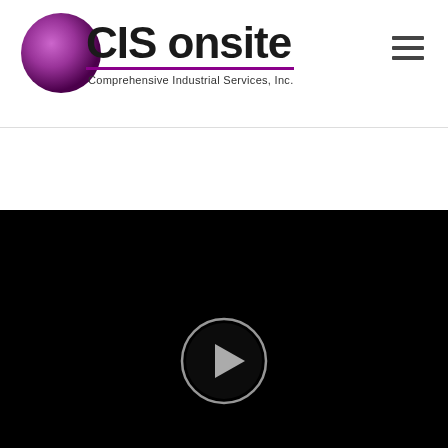[Figure (logo): CIS onsite logo: purple gradient circle on left, bold text 'CIS onsite' with purple underline, subtitle 'Comprehensive Industrial Services, Inc.']
[Figure (other): Hamburger menu icon (three horizontal lines) in top right corner]
[Figure (screenshot): Black video player area with a circular play button in the center-bottom area]